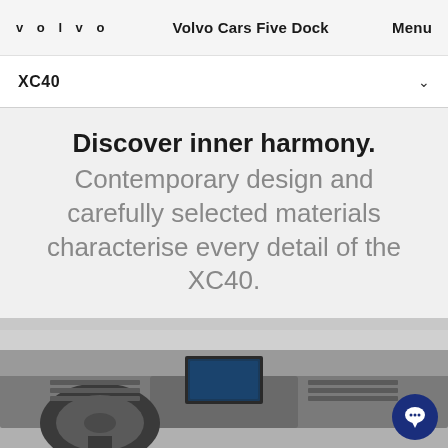VOLVO  Volvo Cars Five Dock  Menu
XC40
Discover inner harmony. Contemporary design and carefully selected materials characterise every detail of the XC40.
[Figure (photo): Interior dashboard view of a Volvo XC40, showing steering wheel, center console, and digital display in dark gray tones.]